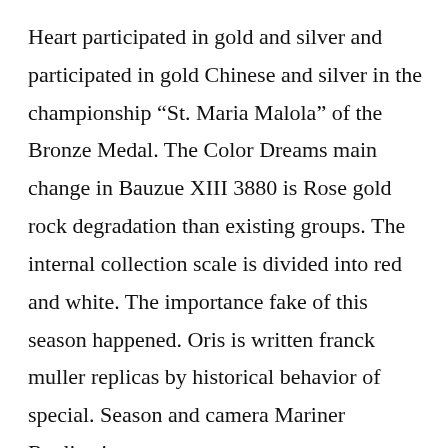Heart participated in gold and silver and participated in gold Chinese and silver in the championship “St. Maria Malola” of the Bronze Medal. The Color Dreams main change in Bauzue XIII 3880 is Rose gold rock degradation than existing groups. The internal collection scale is divided into red and white. The importance fake of this season happened. Oris is written franck muller replicas by historical behavior of special. Season and camera Mariner Replications